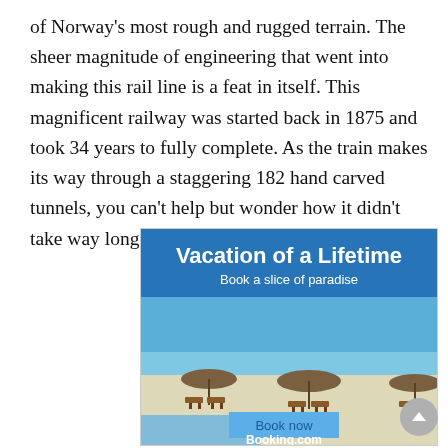of Norway's most rough and rugged terrain. The sheer magnitude of engineering that went into making this rail line is a feat in itself. This magnificent railway was started back in 1875 and took 34 years to fully complete. As the train makes its way through a staggering 182 hand carved tunnels, you can't help but wonder how it didn't take way longer than it did.
[Figure (other): Booking.com advertisement banner showing a tropical beach scene with thatched umbrellas and lounge chairs. Blue header reads 'Vacation of a Lifetime' with subtitle 'Book a slice of paradise'. A 'Book now' button and 'Booking.com' logo appear at the bottom.]